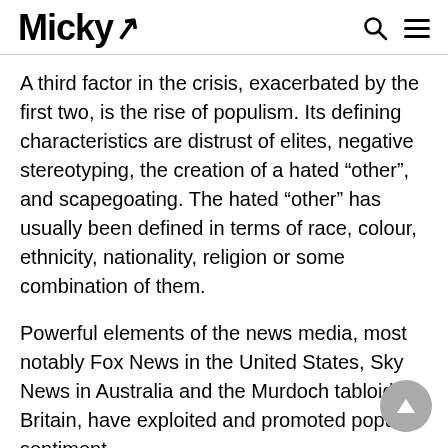Micky
A third factor in the crisis, exacerbated by the first two, is the rise of populism. Its defining characteristics are distrust of elites, negative stereotyping, the creation of a hated “other”, and scapegoating. The hated “other” has usually been defined in terms of race, colour, ethnicity, nationality, religion or some combination of them.
Powerful elements of the news media, most notably Fox News in the United States, Sky News in Australia and the Murdoch tabloids in Britain, have exploited and promoted populist sentiment.